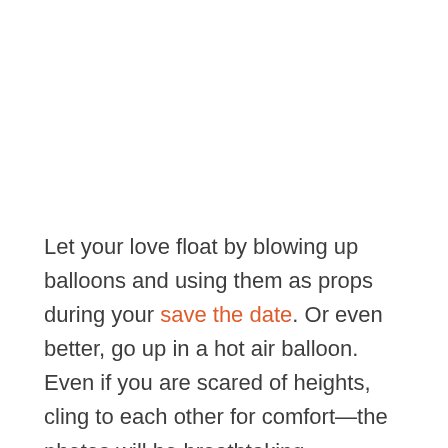Let your love float by blowing up balloons and using them as props during your save the date. Or even better, go up in a hot air balloon. Even if you are scared of heights, cling to each other for comfort—the photos will be breathtaking.
17. It's Game Time